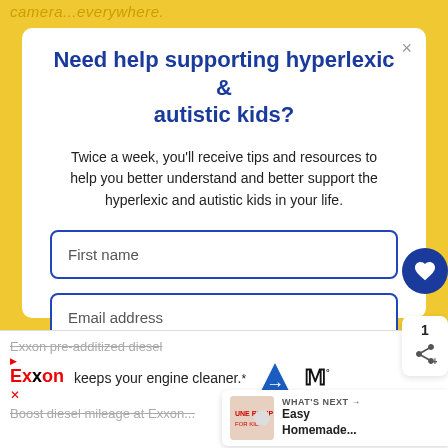camera...everywhere.
Need help supporting hyperlexic & autistic kids?
Twice a week, you'll receive tips and resources to help you better understand and better support the hyperlexic and autistic kids in your life.
First name
Email address
Tell me about yourself. Pick one that best describes why you're here.
I'm a parent or grandparent
Exxon pre-additized diesel keeps your engine cleaner.*
Boost diesel mileage at Exxon...